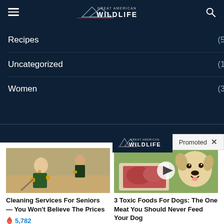Great American Wildlife
Recipes (58)
Uncategorized (15)
Women (33)
[Figure (screenshot): Promoted content bar with Great American Wildlife logo and Promoted label with X close button]
[Figure (photo): Two cleaning service workers in green uniforms mopping a floor]
Cleaning Services For Seniors — You Won't Believe The Prices
🔥 5,782
[Figure (photo): Golden retriever dog with raw meat and a video play button overlay]
3 Toxic Foods For Dogs: The One Meat You Should Never Feed Your Dog
🔥 5,312